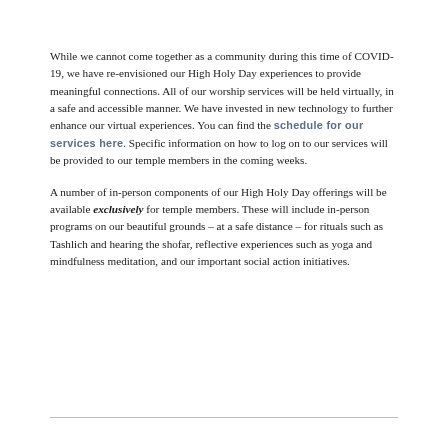While we cannot come together as a community during this time of COVID-19, we have re-envisioned our High Holy Day experiences to provide meaningful connections. All of our worship services will be held virtually, in a safe and accessible manner. We have invested in new technology to further enhance our virtual experiences. You can find the schedule for our services here. Specific information on how to log on to our services will be provided to our temple members in the coming weeks.
A number of in-person components of our High Holy Day offerings will be available exclusively for temple members. These will include in-person programs on our beautiful grounds – at a safe distance – for rituals such as Tashlich and hearing the shofar, reflective experiences such as yoga and mindfulness meditation, and our important social action initiatives.